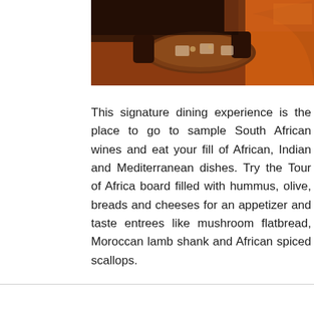[Figure (photo): Interior of a restaurant with round wooden tables, chairs, and orange/warm-toned decor viewed from above]
This signature dining experience is the place to go to sample South African wines and eat your fill of African, Indian and Mediterranean dishes. Try the Tour of Africa board filled with hummus, olive, breads and cheeses for an appetizer and taste entrees like mushroom flatbread, Moroccan lamb shank and African spiced scallops.